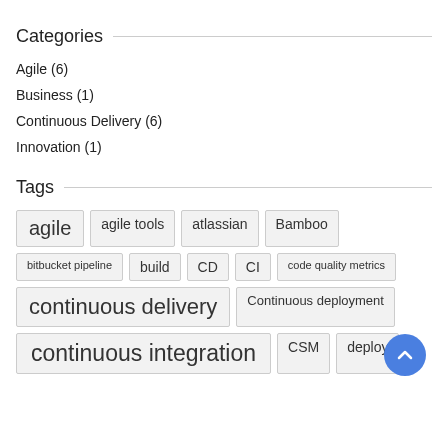Categories
Agile (6)
Business (1)
Continuous Delivery (6)
Innovation (1)
Tags
agile, agile tools, atlassian, Bamboo, bitbucket pipeline, build, CD, CI, code quality metrics, continuous delivery, Continuous deployment, continuous integration, CSM, deploy